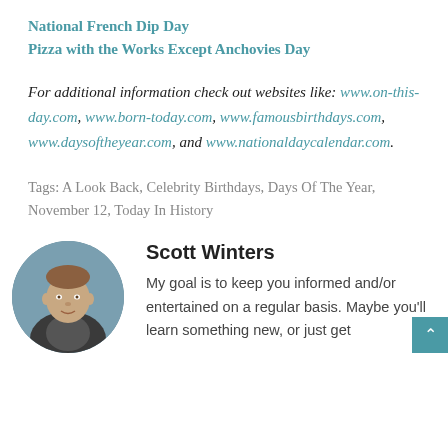National French Dip Day
Pizza with the Works Except Anchovies Day
For additional information check out websites like: www.on-this-day.com, www.born-today.com, www.famousbirthdays.com, www.daysoftheyear.com, and www.nationaldaycalendar.com.
Tags: A Look Back, Celebrity Birthdays, Days Of The Year, November 12, Today In History
[Figure (photo): Circular portrait photo of Scott Winters, a man with short hair wearing a dark jacket, photographed outdoors.]
Scott Winters
My goal is to keep you informed and/or entertained on a regular basis. Maybe you'll learn something new, or just get